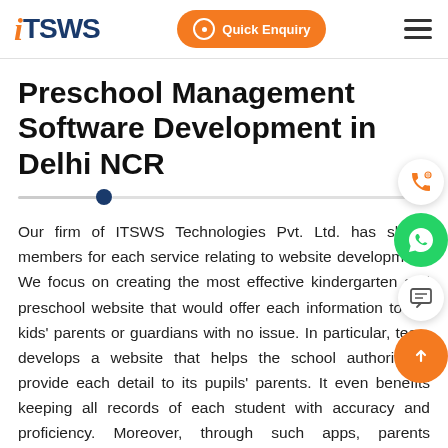iTSWS | Quick Enquiry | Menu
Preschool Management Software Development in Delhi NCR
Our firm of ITSWS Technologies Pvt. Ltd. has skilled members for each service relating to website development. We focus on creating the most effective kindergarten and preschool website that would offer each information to the kids' parents or guardians with no issue. In particular, team develops a website that helps the school authority to provide each detail to its pupils' parents. It even benefits keeping all records of each student with accuracy and proficiency. Moreover, through such apps, parents understand the growth of their child through different portals. Thus, our team includes expert designers that even help your website to reach top ranking through SEO services.